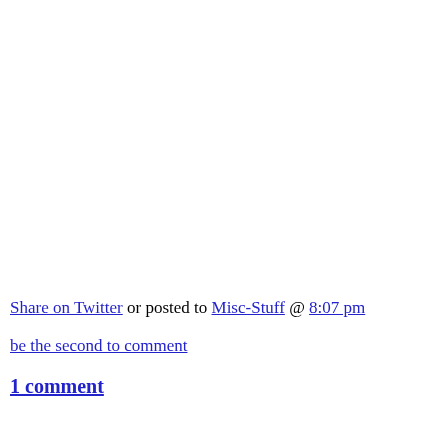Share on Twitter or posted to Misc-Stuff @ 8:07 pm
be the second to comment
1 comment